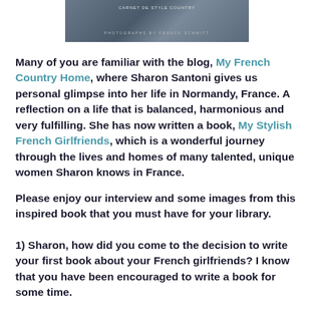[Figure (photo): Book cover image of My Stylish French Girlfriends, partially visible at top of page, showing dark tones with text overlay]
Many of you are familiar with the blog, My French Country Home, where Sharon Santoni gives us personal glimpse into her life in Normandy,  France. A reflection on a life that is balanced, harmonious and very fulfilling. She has now written a book, My Stylish French Girlfriends, which is a wonderful journey through the lives and homes of many talented, unique women Sharon knows in France.
Please enjoy our interview and some images from this inspired book that you must have for your library.
1) Sharon, how did you come to the decision to write your first book about your French girlfriends? I know that you have been encouraged to write a book for some time.